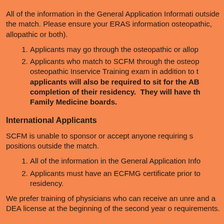All of the information in the General Application Information outside the match. Please ensure your ERAS information osteopathic, allopathic or both).
Applicants may go through the osteopathic or allop
Applicants who match to SCFM through the osteop osteopathic Inservice Training exam in addition to t applicants will also be required to sit for the AB completion of their residency.  They will have th Family Medicine boards.
International Applicants
SCFM is unable to sponsor or accept anyone requiring s positions outside the match.
All of the information in the General Application Info
Applicants must have an ECFMG certificate prior to residency.
We prefer training of physicians who can receive an unre and a DEA license at the beginning of the second year o requirements.